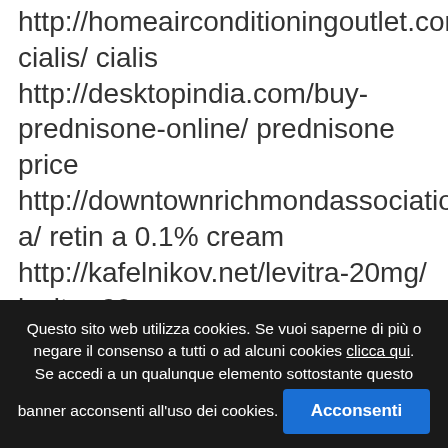http://homeairconditioningoutlet.com/drug/generic-cialis/ cialis http://desktopindia.com/buy-prednisone-online/ prednisone price http://downtownrichmondassociation.com/retin-a/ retin a 0.1% cream http://kafelnikov.net/levitra-20mg/ levitra 20 mg http://homeairconditioningoutlet.com/drug/cialis/ cialis 20mg price at walmart http://talleysbooks.com/item/levitra/ vardenafil buy levitra online http://center4family.com/drug/ventolin/ buy
Questo sito web utilizza cookies. Se vuoi saperne di più o negare il consenso a tutti o ad alcuni cookies clicca qui. Se accedi a un qualunque elemento sottostante questo banner acconsenti all'uso dei cookies. Acconsenti